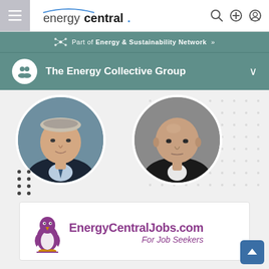[Figure (screenshot): EnergyCentral website navigation bar with hamburger menu, logo, search, add, and user account icons]
Part of Energy & Sustainability Network »
The Energy Collective Group
[Figure (photo): Two circular profile photos of professional men side by side on a dotted background]
[Figure (logo): EnergyCentralJobs.com logo with penguin illustration and tagline 'For Job Seekers']
FEATURED JOBS